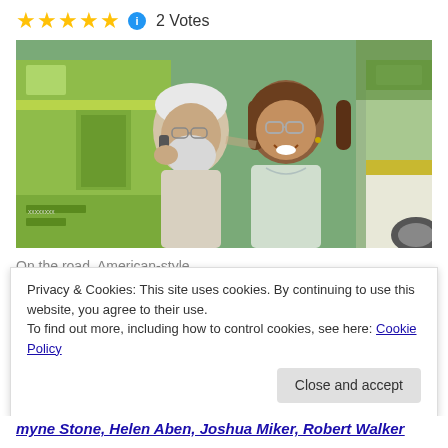★★★★★ ℹ 2 Votes
[Figure (photo): Two elderly people, a man with white hair and beard and a woman with brown hair and glasses, laughing together in front of a green and white vehicle (RV/bus)]
On the road, American-style.
(2018) Dramedy (Sony Classics) Helen Mirren, Donald
Privacy & Cookies: This site uses cookies. By continuing to use this website, you agree to their use.
To find out more, including how to control cookies, see here: Cookie Policy
[Close and accept]
myne stone, Helen Aben, Joshua Miker, Robert Walker